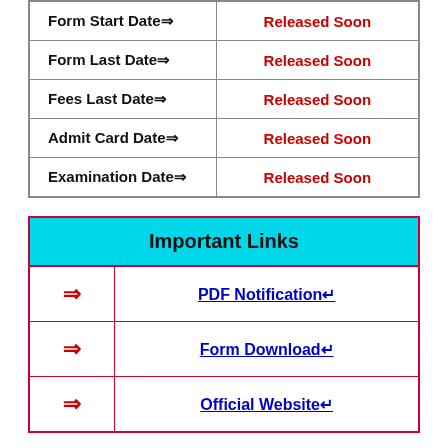| Field | Status |
| --- | --- |
| Form Start Date⇒ | Released Soon |
| Form Last Date⇒ | Released Soon |
| Fees Last Date⇒ | Released Soon |
| Admit Card Date⇒ | Released Soon |
| Examination Date⇒ | Released Soon |
| Important Links |
| --- |
| ⇒ | PDF Notification↵ |
| ⇒ | Form Download↵ |
| ⇒ | Official Website↵ |